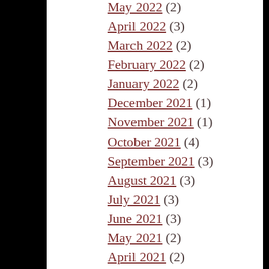May 2022 (2)
April 2022 (3)
March 2022 (2)
February 2022 (2)
January 2022 (2)
December 2021 (1)
November 2021 (1)
October 2021 (4)
September 2021 (3)
August 2021 (3)
July 2021 (3)
June 2021 (3)
May 2021 (2)
April 2021 (2)
March 2021 (3)
February 2021 (2)
January 2021 (2)